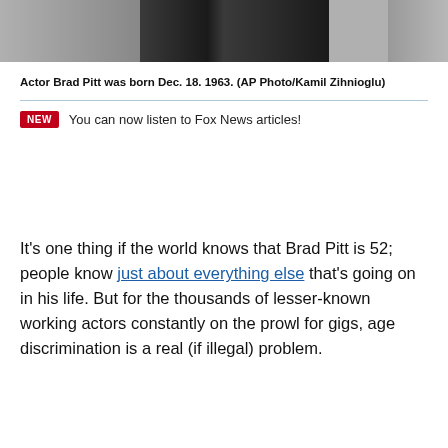[Figure (photo): Partial photo of actor Brad Pitt, showing body in dark clothing against light background]
Actor Brad Pitt was born Dec. 18. 1963. (AP Photo/Kamil Zihnioglu)
NEW  You can now listen to Fox News articles!
It's one thing if the world knows that Brad Pitt is 52; people know just about everything else that's going on in his life. But for the thousands of lesser-known working actors constantly on the prowl for gigs, age discrimination is a real (if illegal) problem.